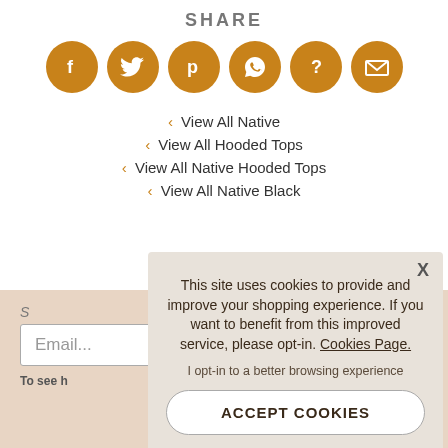SHARE
[Figure (infographic): Six orange circular social share icons: Facebook (f), Twitter (bird), Pinterest (p), WhatsApp (phone), unknown (?), Email (envelope)]
‹  View All Native
‹  View All Hooded Tops
‹  View All Native Hooded Tops
‹  View All Native Black
Email...
To see h
This site uses cookies to provide and improve your shopping experience. If you want to benefit from this improved service, please opt-in. Cookies Page.
I opt-in to a better browsing experience
ACCEPT COOKIES